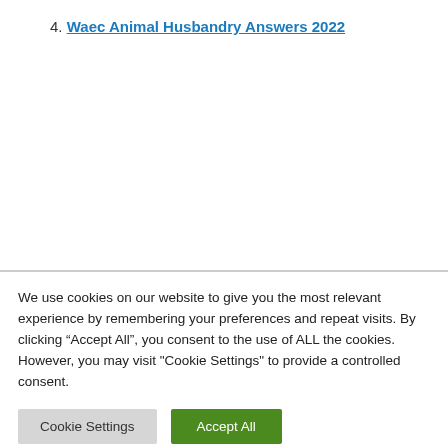4. Waec Animal Husbandry Answers 2022
We use cookies on our website to give you the most relevant experience by remembering your preferences and repeat visits. By clicking “Accept All”, you consent to the use of ALL the cookies. However, you may visit "Cookie Settings" to provide a controlled consent.
Cookie Settings | Accept All